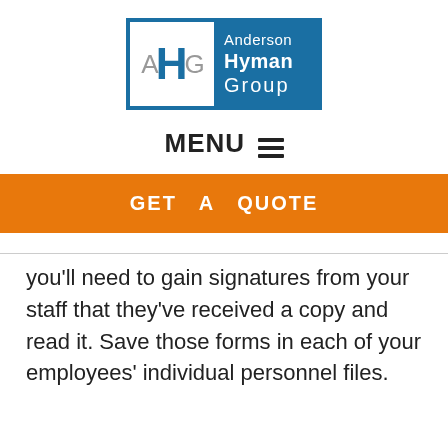[Figure (logo): Anderson Hyman Group logo: blue rectangle with white inner box containing stylized AHG letters, and 'Anderson Hyman Group' text in white on blue background]
MENU ≡
GET A QUOTE
you'll need to gain signatures from your staff that they've received a copy and read it. Save those forms in each of your employees' individual personnel files.